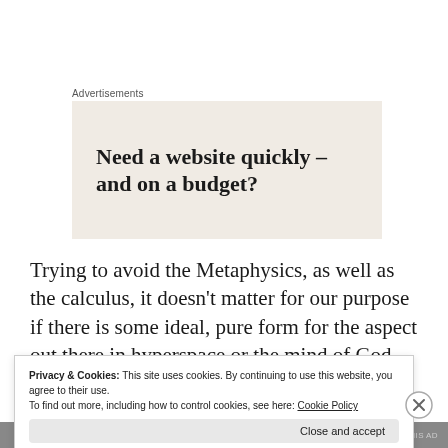Advertisements
[Figure (other): Advertisement banner with beige background reading: Need a website quickly – and on a budget?]
Trying to avoid the Metaphysics, as well as the calculus, it doesn't matter for our purpose if there is some ideal, pure form for the aspect out there in hyperspace or the mind of God
Privacy & Cookies: This site uses cookies. By continuing to use this website, you agree to their use.
To find out more, including how to control cookies, see here: Cookie Policy
Close and accept